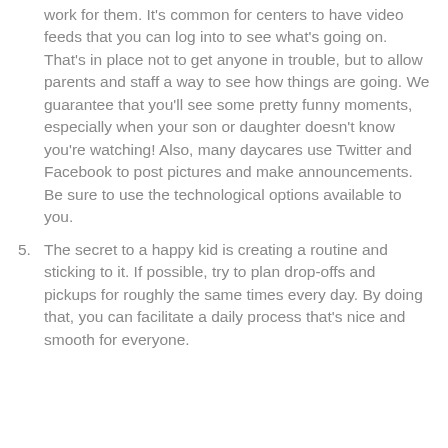work for them. It's common for centers to have video feeds that you can log into to see what's going on. That's in place not to get anyone in trouble, but to allow parents and staff a way to see how things are going. We guarantee that you'll see some pretty funny moments, especially when your son or daughter doesn't know you're watching! Also, many daycares use Twitter and Facebook to post pictures and make announcements. Be sure to use the technological options available to you.
5. The secret to a happy kid is creating a routine and sticking to it. If possible, try to plan drop-offs and pickups for roughly the same times every day. By doing that, you can facilitate a daily process that's nice and smooth for everyone.